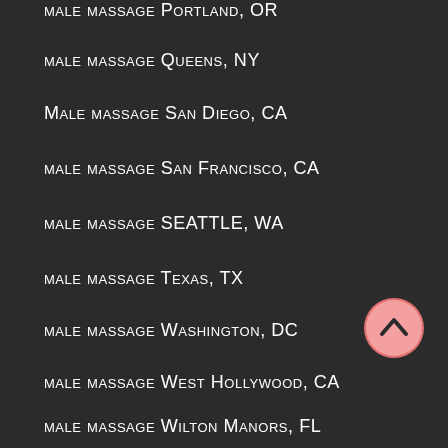male massage Portland, OR
male massage Queens, NY
Male massage San Diego, CA
male massage San Francisco, CA
male massage SEATTLE, WA
male massage Texas, TX
male massage Washington, DC
male massage West Hollywood, CA
male massage Wilton Manors, FL
M4M Male Massage